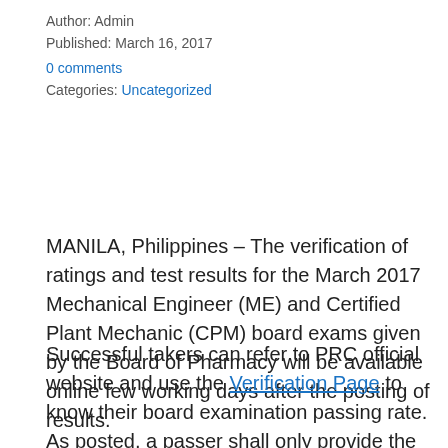Author: Admin
Published: March 16, 2017
0 comments
Categories: Uncategorized
MANILA, Philippines – The verification of ratings and test results for the March 2017 Mechanical Engineer (ME) and Certified Plant Mechanic (CPM) board exams given by the Board of Pharmacy will be available online few working days after the posting of results.
Successful takers can refer to PRC official website and use the Verification Page to know their board examination passing rate. As posted, a passer shall only provide the exam name, the date of examination, the applicant name or first name and last name, and